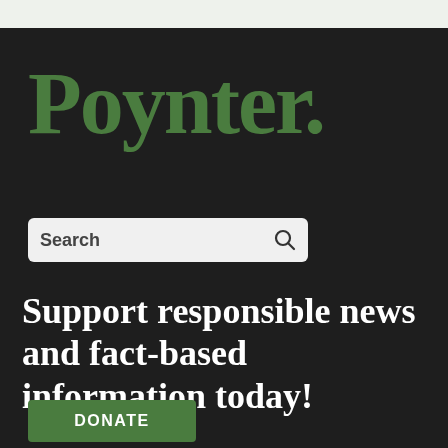Poynter.
[Figure (other): Search box with text 'Search' and a magnifying glass icon]
Support responsible news and fact-based information today!
DONATE